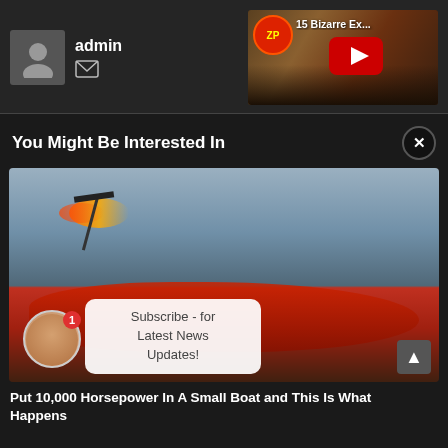[Figure (screenshot): User profile header with avatar placeholder and admin username with mail icon]
admin
[Figure (screenshot): YouTube video thumbnail showing '15 Bizarre Ex...' with play button and channel icon]
You Might Be Interested In
[Figure (photo): Red hydroplane boat racing on water with flames shooting from engine, with subscribe notification popup overlay]
Subscribe - for Latest News Updates!
Put 10,000 Horsepower In A Small Boat and This Is What Happens